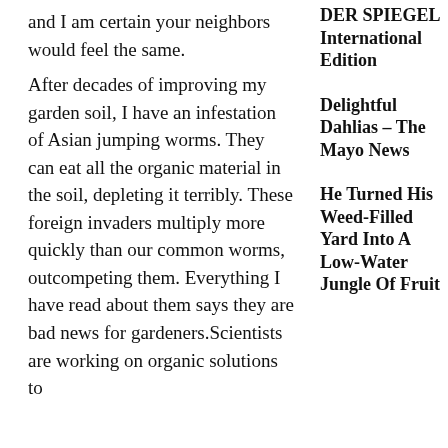and I am certain your neighbors would feel the same. After decades of improving my garden soil, I have an infestation of Asian jumping worms. They can eat all the organic material in the soil, depleting it terribly. These foreign invaders multiply more quickly than our common worms, outcompeting them. Everything I have read about them says they are bad news for gardeners.Scientists are working on organic solutions to
DER SPIEGEL International Edition
Delightful Dahlias – The Mayo News
He Turned His Weed-Filled Yard Into A Low-Water Jungle Of Fruit